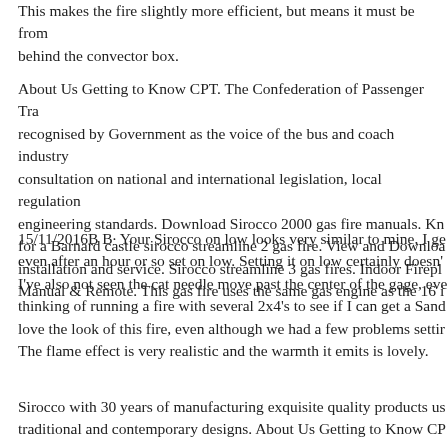This makes the fire slightly more efficient, but means it must be from behind the convector box.
About Us Getting to Know CPT. The Confederation of Passenger Tra recognised by Government as the voice of the bus and coach industry consultation on national and international legislation, local regulation engineering standards. Download Sirocco 2000 gas fire manuals. Kn for a Barnard castle sirocco streamline 2 gas fire. View and Downloa installation and service. Sirocco streamline 3 gas fires. Indoor Firepl Manual & Remote. This gas fire uses the same gas engine as the 16 i
15/11/2016B B· Your Sirocco on low looks very similar to mine, I ge even after an hour or so set on low. Setting it on low certainly doesn't I've also not seen the cat needle move past the center of the gage, eve thinking of running a fire with several 2x4's to see if I can get a Sand love the look of this fire, even although we had a few problems settir The flame effect is very realistic and the warmth it emits is lovely.
Sirocco with 30 years of manufacturing exquisite quality products us traditional and contemporary designs. About Us Getting to Know CP